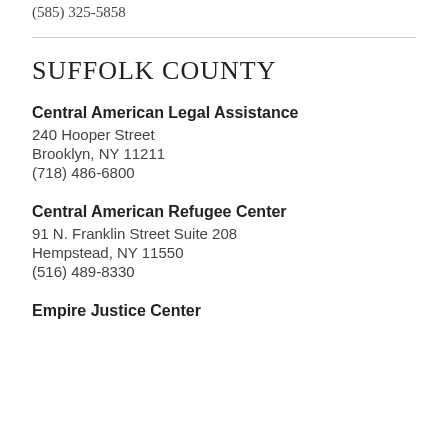(585) 325-5858
SUFFOLK COUNTY
Central American Legal Assistance
240 Hooper Street
Brooklyn, NY 11211
(718) 486-6800
Central American Refugee Center
91 N. Franklin Street Suite 208
Hempstead, NY 11550
(516) 489-8330
Empire Justice Center